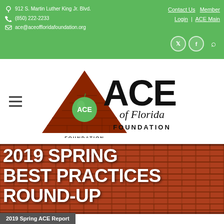912 S. Martin Luther King Jr. Blvd. | (850) 222-2233 | ace@aceoffloridafoundation.org | Contact Us | Member Login | ACE Main
[Figure (logo): ACE of Florida Foundation logo: red brick pyramid with green apple and ACE text, alongside bold ACE of Florida FOUNDATION text]
2019 SPRING BEST PRACTICES ROUND-UP
2019 Spring ACE Report